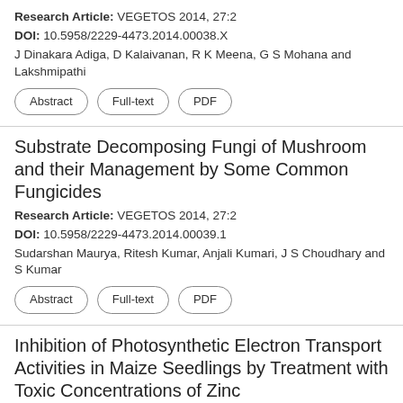Research Article: VEGETOS 2014, 27:2
DOI: 10.5958/2229-4473.2014.00038.X
J Dinakara Adiga, D Kalaivanan, R K Meena, G S Mohana and Lakshmipathi
Abstract | Full-text | PDF
Substrate Decomposing Fungi of Mushroom and their Management by Some Common Fungicides
Research Article: VEGETOS 2014, 27:2
DOI: 10.5958/2229-4473.2014.00039.1
Sudarshan Maurya, Ritesh Kumar, Anjali Kumari, J S Choudhary and S Kumar
Abstract | Full-text | PDF
Inhibition of Photosynthetic Electron Transport Activities in Maize Seedlings by Treatment with Toxic Concentrations of Zinc
Research Article: VEGETOS 2014, 27:2
DOI: 10.5958/2229-4473.2014.00040.8
S Adam and S D S Murthy